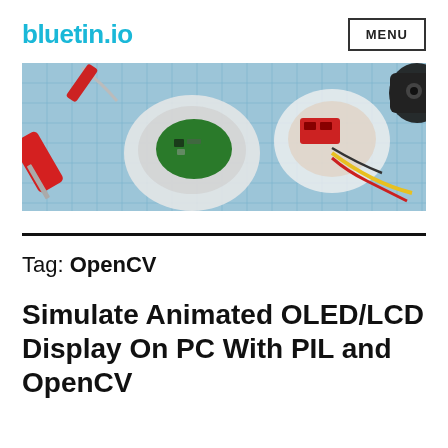bluetin.io | MENU
[Figure (photo): Overhead photo of disassembled electronics/robot components on a blue grid cutting mat, including circuit boards, wires, and red-handled tools.]
Tag: OpenCV
Simulate Animated OLED/LCD Display On PC With PIL and OpenCV